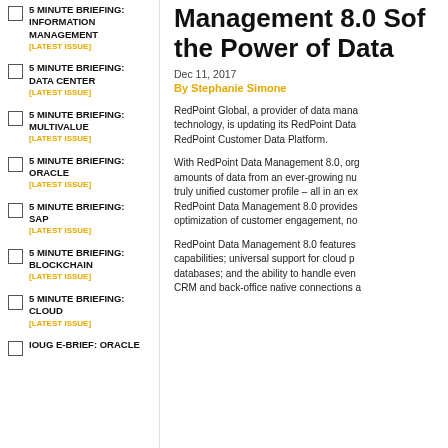5 MINUTE BRIEFING: INFORMATION MANAGEMENT [LATEST ISSUE]
5 MINUTE BRIEFING: DATA CENTER [LATEST ISSUE]
5 MINUTE BRIEFING: MULTIVALUE [LATEST ISSUE]
5 MINUTE BRIEFING: ORACLE [LATEST ISSUE]
5 MINUTE BRIEFING: SAP [LATEST ISSUE]
5 MINUTE BRIEFING: BLOCKCHAIN [LATEST ISSUE]
5 MINUTE BRIEFING: CLOUD [LATEST ISSUE]
IOUG E-BRIEF: ORACLE
Management 8.0 Sof the Power of Data
Dec 11, 2017
By Stephanie Simone
RedPoint Global, a provider of data mana technology, is updating its RedPoint Data RedPoint Customer Data Platform.
With RedPoint Data Management 8.0, org amounts of data from an ever-growing nu truly unified customer profile – all in an ex RedPoint Data Management 8.0 provides optimization of customer engagement, no
RedPoint Data Management 8.0 features capabilities; universal support for cloud p databases; and the ability to handle even CRM and back-office native connections a